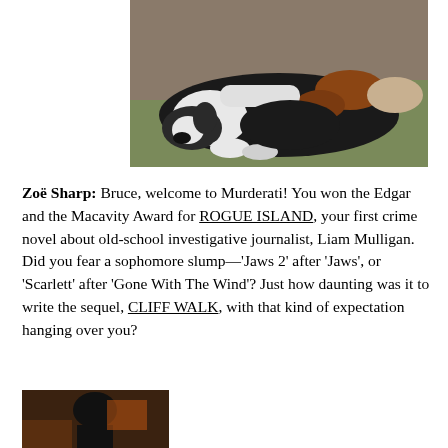[Figure (photo): Large black and white dog lying on dirt ground with green grass in background]
Zoë Sharp: Bruce, welcome to Murderati! You won the Edgar and the Macavity Award for ROGUE ISLAND, your first crime novel about old-school investigative journalist, Liam Mulligan. Did you fear a sophomore slump—'Jaws 2' after 'Jaws', or 'Scarlett' after 'Gone With The Wind'? Just how daunting was it to write the sequel, CLIFF WALK, with that kind of expectation hanging over you?
[Figure (photo): Dark silhouette photo, person or figure against warm brown/orange background]